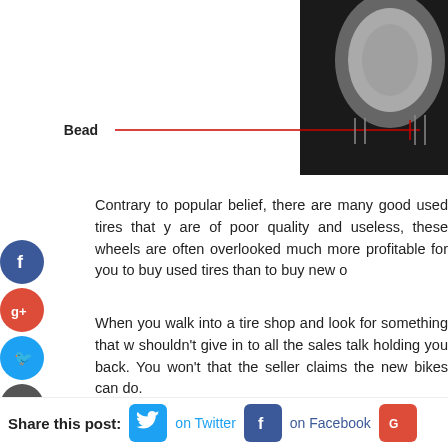[Figure (engineering-diagram): Tire cross-section diagram with a red arrow labeled 'Bead' pointing to the bead area of the tire, showing silver/metallic tire structure against dark background.]
Contrary to popular belief, there are many good used tires that you can buy. While some are of poor quality and useless, these wheels are often overlooked. It is much more profitable for you to buy used tires than to buy new ones.
When you walk into a tire shop and look for something that will fit your needs, you shouldn't give in to all the sales talk holding you back. You won't need all the features that the seller claims the new bikes can do.
Do yourself a favor and save some money. Wherever you are looking for the tires you might need, buy used tires instead of new ones. Places that sell used tires are far better places that sell new tires.
Share this post: on Twitter on Facebook